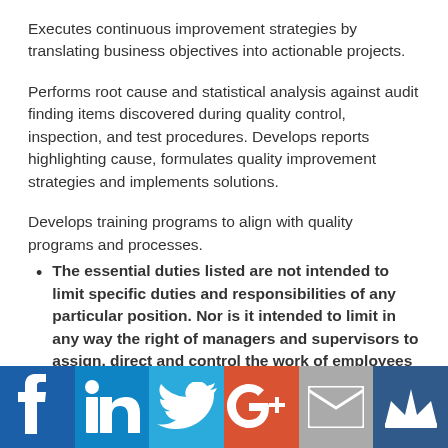Executes continuous improvement strategies by translating business objectives into actionable projects.
Performs root cause and statistical analysis against audit finding items discovered during quality control, inspection, and test procedures. Develops reports highlighting cause, formulates quality improvement strategies and implements solutions.
Develops training programs to align with quality programs and processes.
The essential duties listed are not intended to limit specific duties and responsibilities of any particular position. Nor is it intended to limit in any way the right of managers and supervisors to assign, direct and control the work of employees under their supervision.
[Figure (other): Social media icon bar with Facebook, LinkedIn, Twitter, Google+, Email, and Crown icons on colored backgrounds]